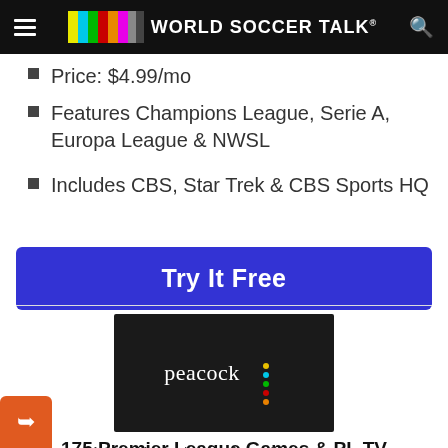World Soccer Talk
Price: $4.99/mo
Features Champions League, Serie A, Europa League & NWSL
Includes CBS, Star Trek & CBS Sports HQ
Try It Free
[Figure (logo): Peacock logo on dark background]
175 Premier League Games & PL TV
Starting price: $4.99/mo for